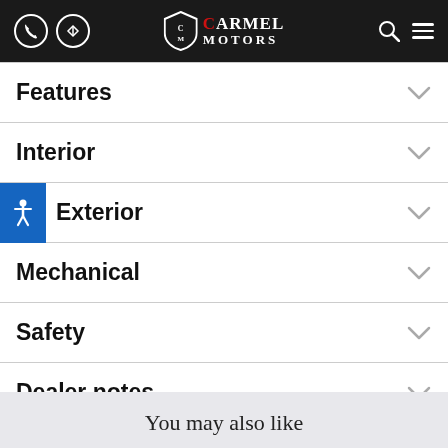Carmel Motors
Features
Interior
Exterior
Mechanical
Safety
Dealer notes
You may also like